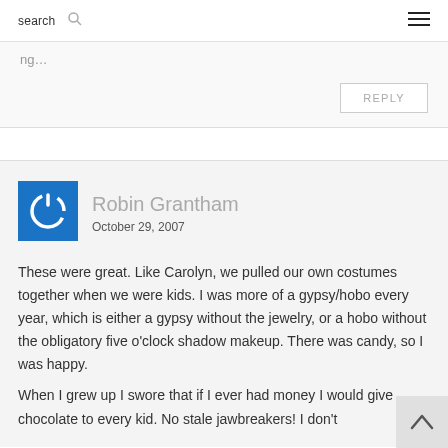search ☰
ng…
REPLY
Robin Grantham
October 29, 2007
These were great. Like Carolyn, we pulled our own costumes together when we were kids. I was more of a gypsy/hobo every year, which is either a gypsy without the jewelry, or a hobo without the obligatory five o'clock shadow makeup. There was candy, so I was happy.
When I grew up I swore that if I ever had money I would give chocolate to every kid. No stale jawbreakers! I don't